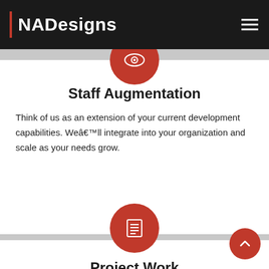NADesigns
Customizable service model gives you options like 24-hr support, quality assurance, and project management.
[Figure (illustration): Red circle with white eye icon representing Staff Augmentation service]
Staff Augmentation
Think of us as an extension of your current development capabilities. We’ll integrate into your organization and scale as your needs grow.
[Figure (illustration): Red circle with white document/list icon representing Project Work service]
Project Work
You define, we deliver. From initial scope through final implementation and beyond, we offer a one-stop solution